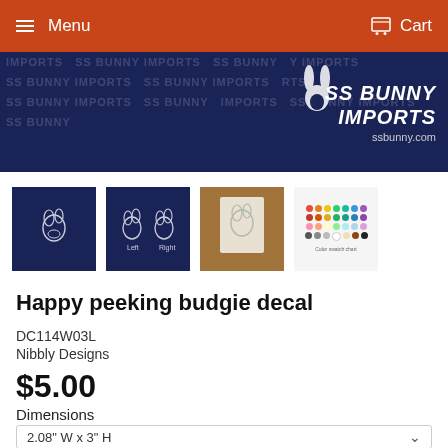Menu  Cart
[Figure (photo): SS Bunny Imports banner with dark blue background, repeated watermark text, and logo on the right side]
[Figure (photo): Four product thumbnail images: dark blue card with single budgie decal, dark blue card with pair of budgies labeled Left Right, wood surface with white decal, and color swatch chart]
Happy peeking budgie decal
DC114W03L
Nibbly Designs
$5.00
Dimensions
2.08" W x 3" H